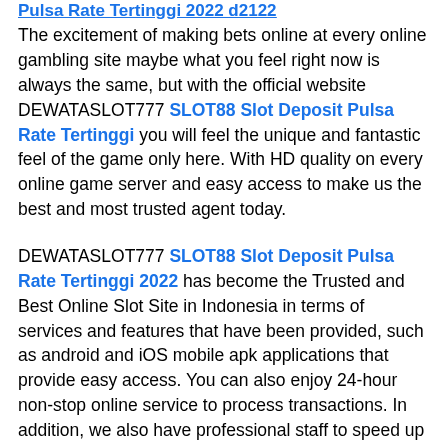Pulsa Rate Tertinggi 2022 d2122
The excitement of making bets online at every online gambling site maybe what you feel right now is always the same, but with the official website DEWATASLOT777 SLOT88 Slot Deposit Pulsa Rate Tertinggi you will feel the unique and fantastic feel of the game only here. With HD quality on every online game server and easy access to make us the best and most trusted agent today.
DEWATASLOT777 SLOT88 Slot Deposit Pulsa Rate Tertinggi 2022 has become the Trusted and Best Online Slot Site in Indonesia in terms of services and features that have been provided, such as android and iOS mobile apk applications that provide easy access. You can also enjoy 24-hour non-stop online service to process transactions. In addition, we also have professional staff to speed up every